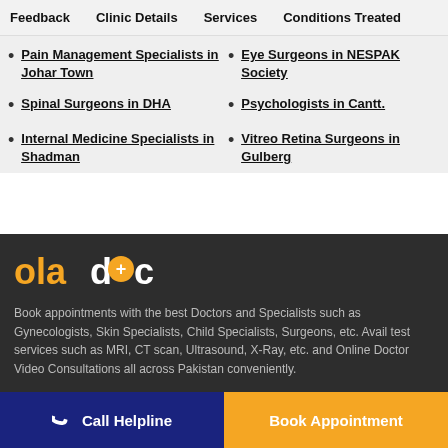Feedback   Clinic Details   Services   Conditions Treated
Pain Management Specialists in Johar Town
Eye Surgeons in NESPAK Society
Spinal Surgeons in DHA
Psychologists in Cantt.
Internal Medicine Specialists in Shadman
Vitreo Retina Surgeons in Gulberg
[Figure (logo): oladoc logo with orange 'ola' text, white 'd', orange circle with white plus sign, white 'oc' text]
Book appointments with the best Doctors and Specialists such as Gynecologists, Skin Specialists, Child Specialists, Surgeons, etc. Avail test services such as MRI, CT scan, Ultrasound, X-Ray, etc. and Online Doctor Video Consultations all across Pakistan conveniently.
Call Helpline
Book Appointment